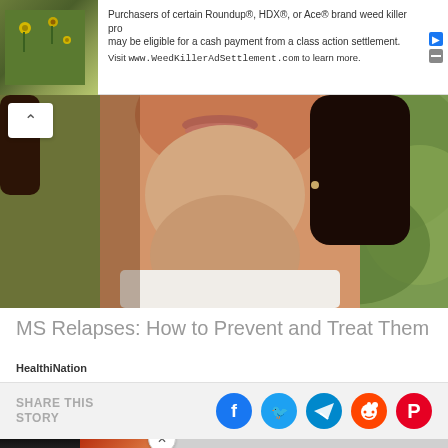[Figure (photo): Advertisement banner with green floral/plant image on left and text about Roundup weed killer class action settlement]
Purchasers of certain Roundup®, HDX®, or Ace® brand weed killer pro may be eligible for a cash payment from a class action settlement. Visit www.WeedKillerAdSettlement.com to learn more.
[Figure (photo): Close-up photo of a woman's lower face showing lips and chin with white shirt collar, dark hair, blurred green foliage background]
MS Relapses: How to Prevent and Treat Them
HealthiNation
SHARE THIS STORY
[Figure (infographic): Social share icons: Facebook (blue circle), Twitter (light blue circle), Telegram (dark blue circle), Reddit (orange circle), Pinterest (red circle)]
[Figure (photo): Bottom advertisement showing two thumbnail images (person and spice/powder) with text: A Teaspoon On An Empty Stomach Burns Fat Like Crazy! - Ad]